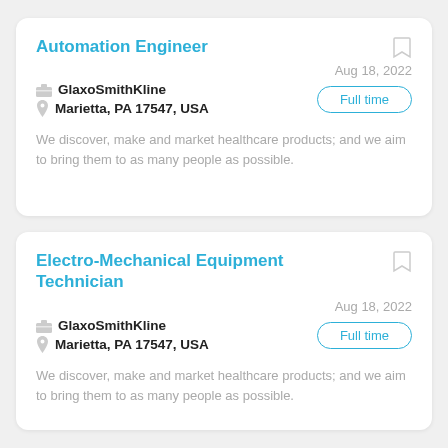Automation Engineer
Aug 18, 2022
GlaxoSmithKline
Marietta, PA 17547, USA
Full time
We discover, make and market healthcare products; and we aim to bring them to as many people as possible.
Electro-Mechanical Equipment Technician
Aug 18, 2022
GlaxoSmithKline
Marietta, PA 17547, USA
Full time
We discover, make and market healthcare products; and we aim to bring them to as many people as possible.